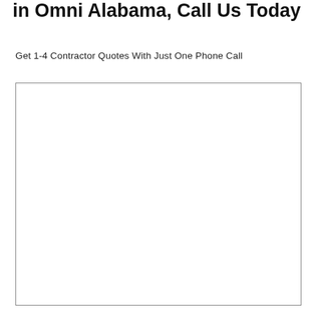in Omni Alabama, Call Us Today
Get 1-4 Contractor Quotes With Just One Phone Call
[Figure (other): Empty white rectangle with a gray border, serving as a placeholder image or map area.]